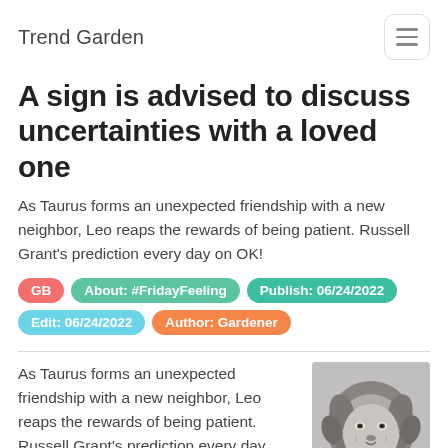Trend Garden
A sign is advised to discuss uncertainties with a loved one
As Taurus forms an unexpected friendship with a new neighbor, Leo reaps the rewards of being patient. Russell Grant's prediction every day on OK!
GB
About: #FridayFeeling
Publish: 06/24/2022
Edit: 06/24/2022
Author: Gardener
As Taurus forms an unexpected friendship with a new neighbor, Leo reaps the rewards of being patient. Russell Grant's prediction every day
[Figure (photo): Black and white close-up photo of a lion's face and mane]